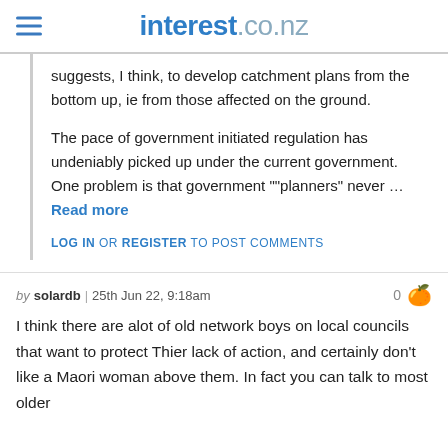interest.co.nz
suggests, I think, to develop catchment plans from the bottom up, ie from those affected on the ground.

The pace of government initiated regulation has undeniably picked up under the current government. One problem is that government ""planners" never … Read more
LOG IN OR REGISTER TO POST COMMENTS
by solardb | 25th Jun 22, 9:18am
I think there are alot of old network boys on local councils that want to protect Thier lack of action, and certainly don't like a Maori woman above them. In fact you can talk to most older